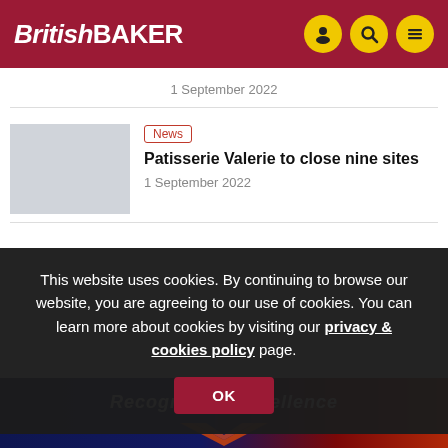British BAKER
1 September 2022
News
Patisserie Valerie to close nine sites
1 September 2022
This website uses cookies. By continuing to browse our website, you are agreeing to our use of cookies. You can learn more about cookies by visiting our privacy & cookies policy page.
OK
[Figure (illustration): Recognising Excellence banner image with dark blue and orange/red gradient background and chevron/X graphic]